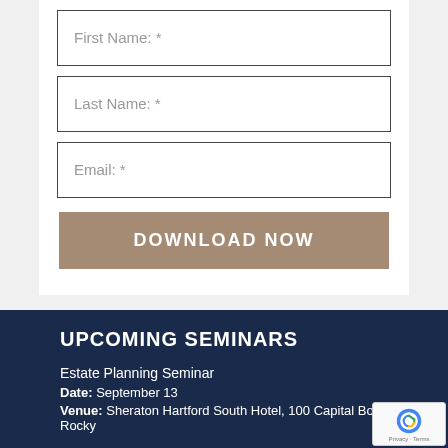First Name: *
Last Name: *
Email: *
DOWNLOAD NOW
UPCOMING SEMINARS
Estate Planning Seminar
Date: September 13
Venue: Sheraton Hartford South Hotel, 100 Capital Boulevard, Rocky